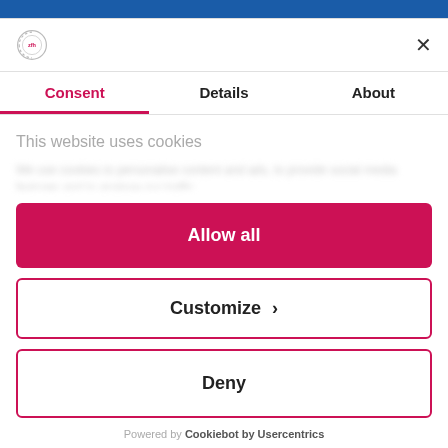[Figure (screenshot): Blue top banner strip visible at top of page]
[Figure (logo): ZFH logo — circular grey/white logo with 'zfh' text]
×
Consent	Details	About
This website uses cookies
Allow all
Customize ›
Deny
Powered by Cookiebot by Usercentrics